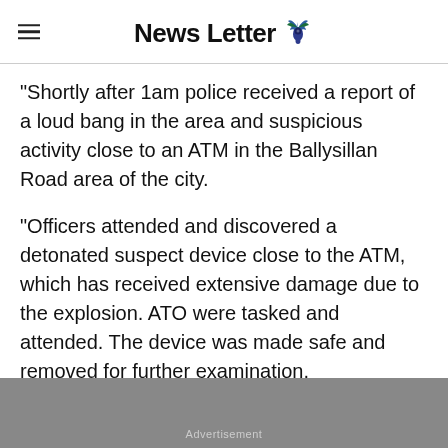News Letter
“Shortly after 1am police received a report of a loud bang in the area and suspicious activity close to an ATM in the Ballysillan Road area of the city.
“Officers attended and discovered a detonated suspect device close to the ATM, which has received extensive damage due to the explosion. ATO were tasked and attended. The device was made safe and removed for further examination.
Advertisement